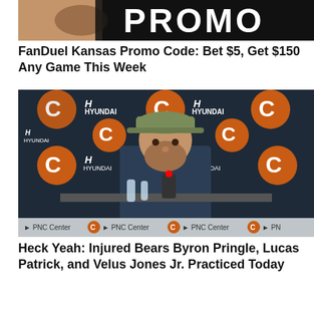[Figure (photo): Promotional banner image with large bold white text 'PROMO' on a dark background, with hands holding a football visible]
FanDuel Kansas Promo Code: Bet $5, Get $150 Any Game This Week
[Figure (photo): A bearded man wearing a green cap sitting at a press conference table in front of a Chicago Bears and Hyundai branded backdrop at PNC Center. A Motorola microphone is visible on the table along with water bottles.]
Heck Yeah: Injured Bears Byron Pringle, Lucas Patrick, and Velus Jones Jr. Practiced Today